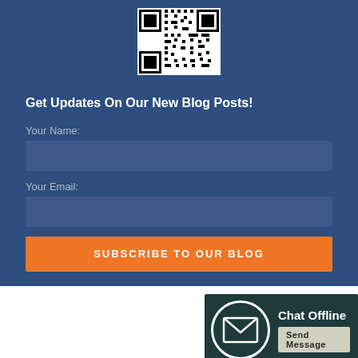[Figure (other): QR code image displayed on dark blue background]
Get Updates On Our New Blog Posts!
Your Name:
Your Email:
SUBSCRIBE TO OUR BLOG
[Figure (other): Chat Offline widget with envelope icon, showing Chat Offline text and Send Message button on dark teal background]